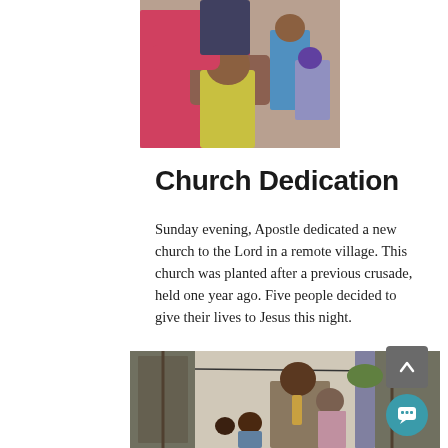[Figure (photo): A person in a pink top touching or praying over a child with a yellow shirt, with other people visible in the background in an indoor setting.]
Church Dedication
Sunday evening, Apostle dedicated a new church to the Lord in a remote village. This church was planted after a previous crusade, held one year ago. Five people decided to give their lives to Jesus this night.
[Figure (photo): A view through a doorway showing a man in a suit and tie with children and other people gathered inside what appears to be a small church building.]